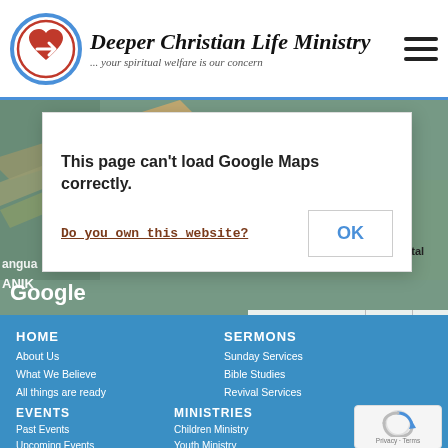Deeper Christian Life Ministry ... your spiritual welfare is our concern
[Figure (screenshot): Google Maps view showing a location in Nigeria with street map visible]
This page can't load Google Maps correctly.
Do you own this website?
OK
HOME
About Us
What We Believe
All things are ready
Where We Meet
Official Websites & SOCIAL HANDLES
SERMONS
Sunday Services
Bible Studies
Revival Services
Workers Training
Leadership Development
EVENTS
Past Events
Upcoming Events
Events
Retreat & Conferences
MINISTRIES
Children Ministry
Youth Ministry
Campus Ministry
Women's Ministry